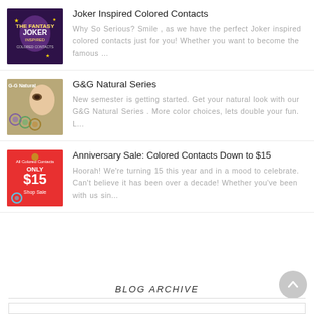[Figure (illustration): Joker Inspired Colored Contacts product thumbnail - purple/dark background with cartoon joker character]
Joker Inspired Colored Contacts
Why So Serious? Smile , as we have the perfect Joker inspired colored contacts just for you! Whether you want to become the famous ...
[Figure (photo): G&G Natural Series - woman holding colored contact lenses with multiple lens samples shown]
G&G Natural Series
New semester is getting started. Get your natural look with our G&G Natural Series . More color choices, lets double your fun. L...
[Figure (illustration): Anniversary Sale banner - red background with text ONLY $15, All Colored Contacts, Shop Sale]
Anniversary Sale: Colored Contacts Down to $15
Hoorah! We're turning 15 this year and in a mood to celebrate. Can't believe it has been over a decade! Whether you've been with us sin...
BLOG ARCHIVE